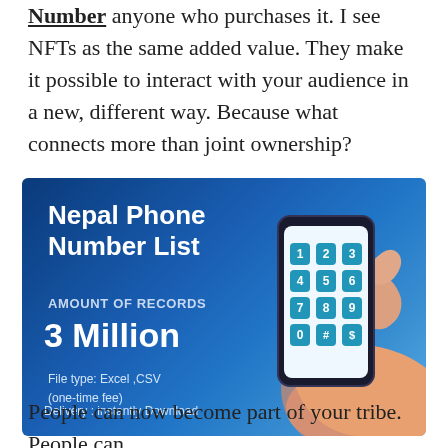Number anyone who purchases it. I see NFTs as the same added value. They make it possible to interact with your audience in a new, different way. Because what connects more than joint ownership?
[Figure (infographic): Nepal Phone Number List infographic banner with blue gradient background. Shows title 'Nepal Phone Number List', 'AMOUNT OF RECORDS', '3 Million', 'File type: Excel ,CSV (one-time fee)', 'Delivery : instantly Download', and a hand holding a smartphone with a numeric keypad.]
People can now become part of your tribe. People can